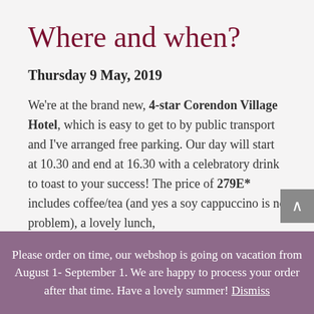Where and when?
Thursday 9 May, 2019
We're at the brand new, 4-star Corendon Village Hotel, which is easy to get to by public transport and I've arranged free parking. Our day will start at 10.30 and end at 16.30 with a celebratory drink to toast to your success! The price of 279E* includes coffee/tea (and yes a soy cappuccino is no problem), a lovely lunch,
Please order on time, our webshop is going on vacation from August 1- September 1. We are happy to process your order after that time. Have a lovely summer! Dismiss